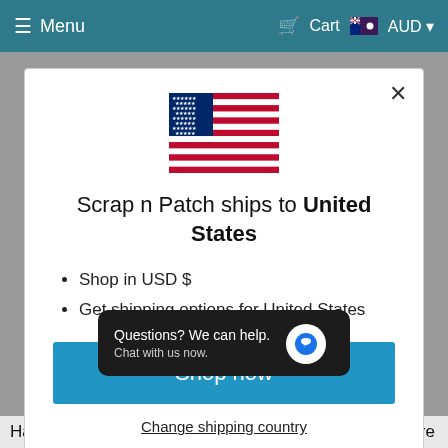≡ Menu   🛒 Cart  🇦🇺 AUD ▾
[Figure (illustration): US flag icon centered in modal]
Scrap n Patch ships to United States
Shop in USD $
Get shipping options for United States
Shop now
Change shipping country
Questions? We can help.
Chat with us now.
Handy hint - The larger the design you choose, the more